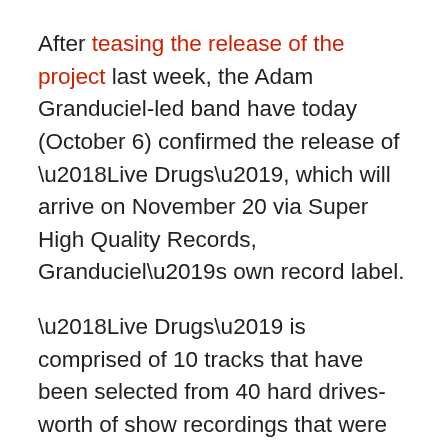After teasing the release of the project last week, the Adam Granduciel-led band have today (October 6) confirmed the release of ‘Live Drugs’, which will arrive on November 20 via Super High Quality Records, Granduciel’s own record label.
‘Live Drugs’ is comprised of 10 tracks that have been selected from 40 hard drives-worth of show recordings that were made during the band’s past six years of touring. The record includes a live version of ‘Buenos Aires Beach’ (from The War On Drugs’ 2008 full-length debut ‘Wagonwheel Blues’) and a cover of Warren Zevon’s ‘Accidentally Like A Martyr’.